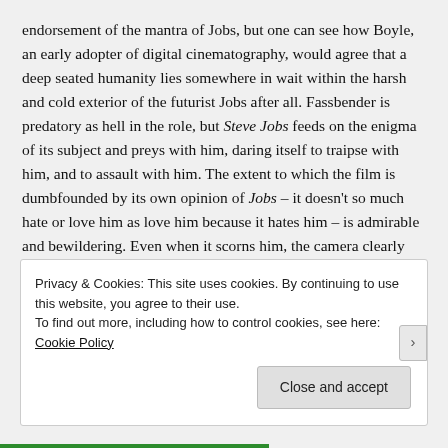endorsement of the mantra of Jobs, but one can see how Boyle, an early adopter of digital cinematography, would agree that a deep seated humanity lies somewhere in wait within the harsh and cold exterior of the futurist Jobs after all. Fassbender is predatory as hell in the role, but Steve Jobs feeds on the enigma of its subject and preys with him, daring itself to traipse with him, and to assault with him. The extent to which the film is dumbfounded by its own opinion of Jobs – it doesn't so much hate or love him as love him because it hates him – is admirable and bewildering. Even when it scorns him, the camera clearly worships him with saintlike excess.
Privacy & Cookies: This site uses cookies. By continuing to use this website, you agree to their use.
To find out more, including how to control cookies, see here: Cookie Policy
Close and accept